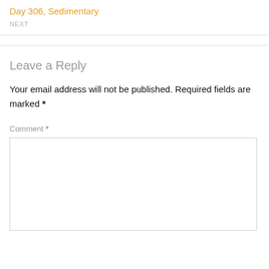Day 306, Sedimentary
NEXT
Leave a Reply
Your email address will not be published. Required fields are marked *
Comment *